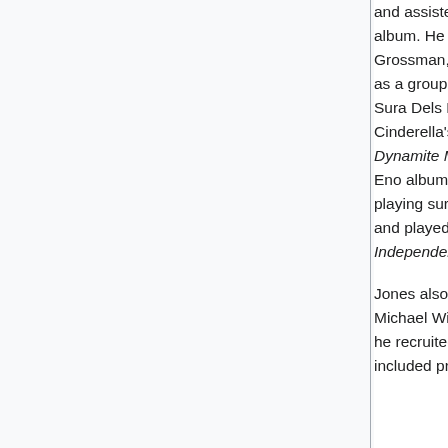and assisted with Ben E. King's reunion tour and album. He produced albums by John Renbourn, Stefan Grossman, and his daughter (Jacinda Jones), as well as a group he referred to as 'industrial flamenco': La Sura Dels Baus. He did string arrangements for Cinderella's Heartbreak Station, Raging Slab's Dynamite Monster Boogie Concert, guested on a Brian Eno album, and appeared on Peter Gabriel's Us playing surdu, bass, and keyboards. Jones produced and played some bass on the Butthole Surfers album, Independent Worm Saloon.
Jones also moved into film soundtracks in 1986 for Michael Winner's Scream for Help, a project for which he recruited Page and Jon Anderson. Other projects included production and performance for